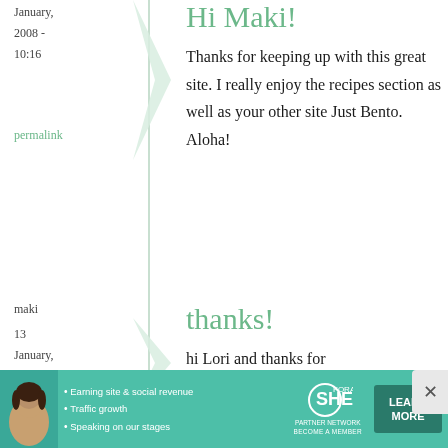January, 2008 - 10:16
permalink
Hi Maki!
Thanks for keeping up with this great site. I really enjoy the recipes section as well as your other site Just Bento. Aloha!
maki
13 January, 2008 - 14:05
thanks!
hi Lori and thanks for
[Figure (infographic): SHE Partner Network advertisement banner with profile photo, bullet points about earning site & social revenue, traffic growth, speaking on our stages, SHE logo, and LEARN MORE button]